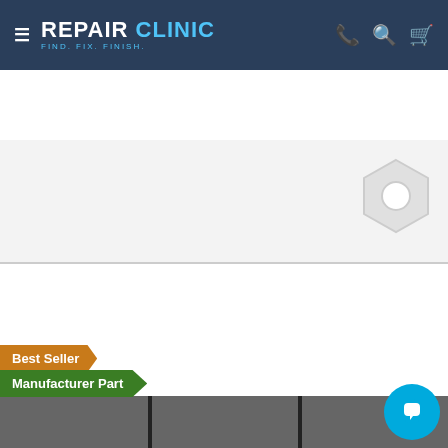≡ REPAIR CLINIC FIND. FIX. FINISH.
Shipping all 7 days! Hold times are long. Already ordered? Email customerservice@repairclinic.com. Learn more
[Figure (photo): Product listing page showing a hex nut/bolt part with grid layout. Badges show Best Seller and Manufacturer Part. A chat button appears bottom right.]
Best Seller
Manufacturer Part